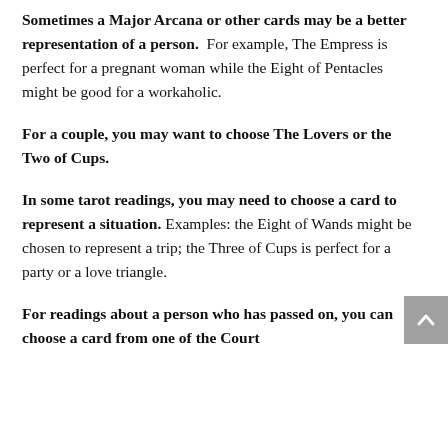Sometimes a Major Arcana or other cards may be a better representation of a person. For example, The Empress is perfect for a pregnant woman while the Eight of Pentacles might be good for a workaholic.
For a couple, you may want to choose The Lovers or the Two of Cups.
In some tarot readings, you may need to choose a card to represent a situation. Examples: the Eight of Wands might be chosen to represent a trip; the Three of Cups is perfect for a party or a love triangle.
For readings about a person who has passed on, you can choose a card from one of the Court cards, but as if you choose them, the...